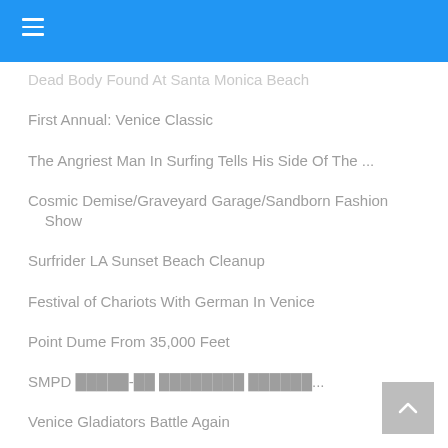≡ (hamburger menu)
Dead Body Found At Santa Monica Beach
First Annual: Venice Classic
The Angriest Man In Surfing Tells His Side Of The ...
Cosmic Demise/Graveyard Garage/Sandborn Fashion Show
Surfrider LA Sunset Beach Cleanup
Festival of Chariots With German In Venice
Point Dume From 35,000 Feet
SMPD 🔳🔳🔳🔳-🔳🔳 🔳🔳🔳🔳🔳🔳🔳🔳 🔳🔳🔳🔳🔳🔳...
Venice Gladiators Battle Again
Five Summer Stories Screening
Festival Of Chariots In Venice
The Angriest Man In Surfing
Fundraiser For Lady Whose House Was Destroyed By H...